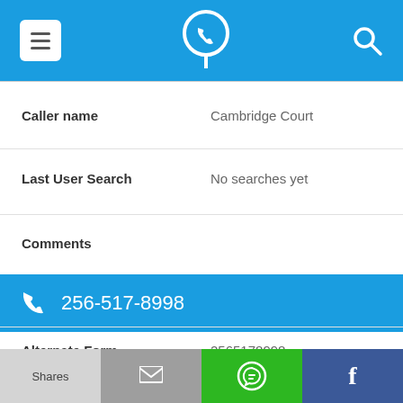Navigation bar with hamburger menu, phone-pin logo, and search icon
Caller name: Cambridge Court
Last User Search: No searches yet
Comments
256-517-8998
Alternate Form: 2565178998
Caller name: Acopia Home Loans
Shares | mail | WhatsApp | Facebook